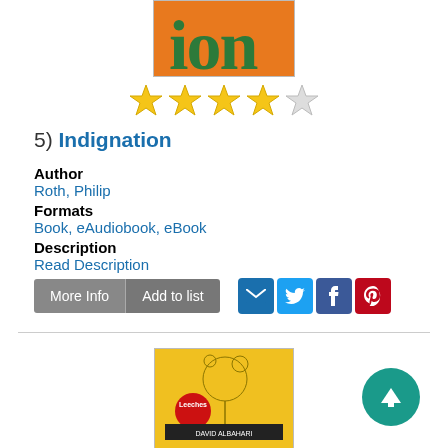[Figure (illustration): Top portion of orange book cover with green text 'ion' visible]
[Figure (illustration): Star rating: 4 out of 5 stars]
5)  Indignation
Author
Roth, Philip
Formats
Book, eAudiobook, eBook
Description
Read Description
More Info | Add to list | Share icons (email, twitter, facebook, pinterest)
[Figure (illustration): Book cover for 'Leeches' by David Albahari — yellow cover with mechanical head illustration and red circle badge]
[Figure (illustration): Teal circular up-arrow button (scroll to top)]